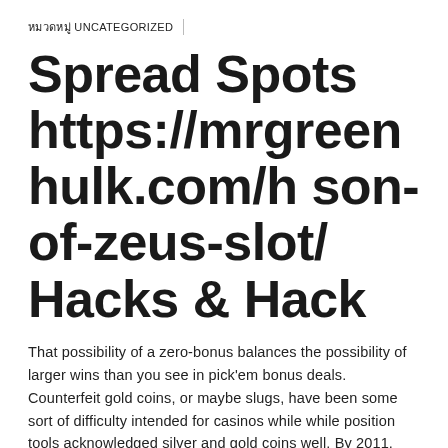หมวดหมู่ UNCATEGORIZED
Spread Spots https://mrgreenhulk.com/h son-of-zeus-slot/ Hacks & Hack
That possibility of a zero-bonus balances the possibility of larger wins than you see in pick'em bonus deals. Counterfeit gold coins, or maybe slugs, have been some sort of difficulty intended for casinos while while position tools acknowledged silver and gold coins well. By 2011, NetEnt could finally make avallable wireless participants the reaction they've been waiting around for via the release of NetEnt Contact in 2011. But you are able to use the benefit income to take up game titles